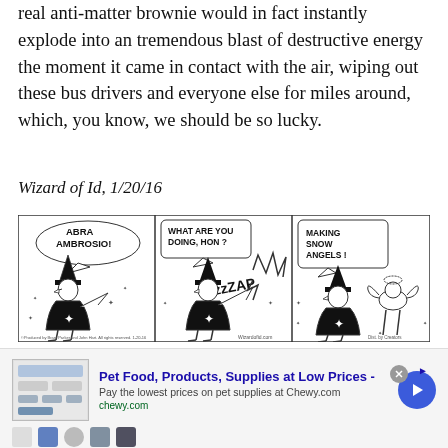real anti-matter brownie would in fact instantly explode into an tremendous blast of destructive energy the moment it came in contact with the air, wiping out these bus drivers and everyone else for miles around, which, you know, we should be so lucky.
Wizard of Id, 1/20/16
[Figure (illustration): Three-panel Wizard of Id comic strip dated 1/20/16. Panel 1: wizard character says 'ABRA AMBROSIO!' Panel 2: wizard zaps something with '...zzZAP'. Panel 3: speech bubble says 'MAKING SNOW ANGELS!']
[Figure (screenshot): Advertisement for Chewy.com - Pet Food, Products, Supplies at Low Prices. Text: 'Pay the lowest prices on pet supplies at Chewy.com'. URL: chewy.com. Blue arrow button on right. Close X button top right.]